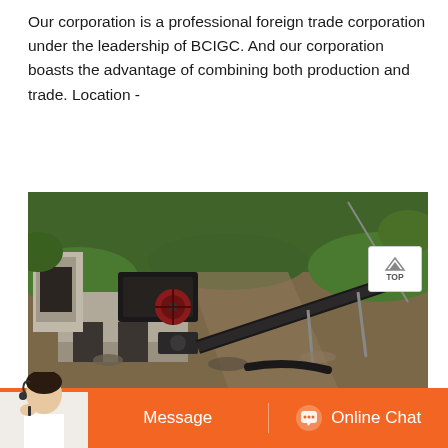Our corporation is a professional foreign trade corporation under the leadership of BCIGC. And our corporation boasts the advantage of combining both production and trade. Location -
[Figure (photo): Aerial view of an industrial stone crushing facility with a jaw crusher machine on a concrete platform, a conveyor belt extending diagonally, and surrounding greenery and excavated terrain.]
Message
Online Chat